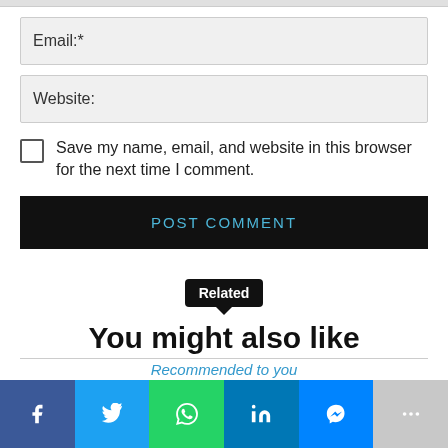Email:*
Website:
Save my name, email, and website in this browser for the next time I comment.
POST COMMENT
You might also like
Recommended to you
[Figure (infographic): Social media share buttons: Facebook, Twitter, WhatsApp, LinkedIn, Messenger, More]